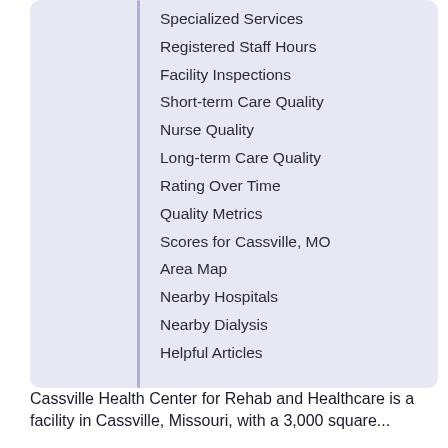Specialized Services
Registered Staff Hours
Facility Inspections
Short-term Care Quality
Nurse Quality
Long-term Care Quality
Rating Over Time
Quality Metrics
Scores for Cassville, MO
Area Map
Nearby Hospitals
Nearby Dialysis
Helpful Articles
Cassville Health Center for Rehab and Healthcare is a facility in Cassville, Missouri, with a 3,000 square...